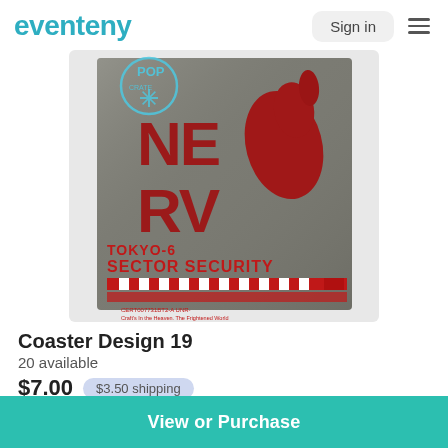eventeny
[Figure (photo): A metallic coaster with NERV Tokyo-6 Sector Security design from Evangelion. The coaster has a dark metallic background with red NERV logo text and a silhouette of a bird/angel, with barcode and security text at the bottom. A Pop Crate logo watermark is visible in the top-left corner.]
Coaster Design 19
20 available
$7.00  $3.50 shipping
View or Purchase